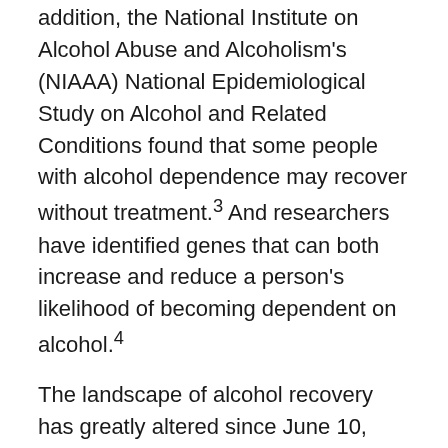addition, the National Institute on Alcohol Abuse and Alcoholism's (NIAAA) National Epidemiological Study on Alcohol and Related Conditions found that some people with alcohol dependence may recover without treatment.³ And researchers have identified genes that can both increase and reduce a person's likelihood of becoming dependent on alcohol.⁴
The landscape of alcohol recovery has greatly altered since June 10, 1935. And yet tenets first written down in 1939 retain significance for A.A.'s more than two million members.⁵
For more on alcohol dependence, visit the NIAAA's site Rethinking Drinking.
1. White, W. (1998). Slaying the dragon: The history of addiction treatment and recovery in America. Bloomington